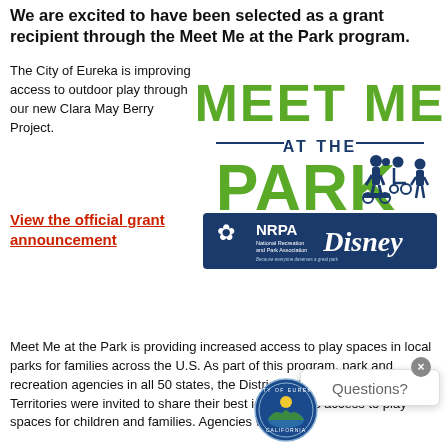We are excited to have been selected as a grant recipient through the Meet Me at the Park program.
The City of Eureka is improving access to outdoor play through our new Clara May Berry Project.
View the official grant announcement
[Figure (logo): Meet Me at the Park program logo with NRPA and Disney logos below]
Meet Me at the Park is providing increased access to play spaces in local parks for families across the U.S. As part of this program, park and recreation agencies in all 50 states, the District of Columbia, U.S. Territories were invited to share their best ideas on increasing access to play spaces for children and families. Agencies with the